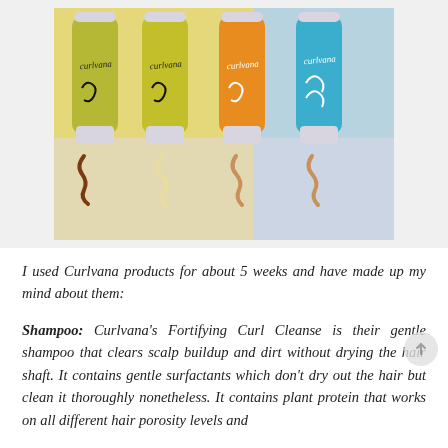[Figure (photo): Four colorful hair care product tubes (Curlvana brand) in yellow-green, orange, and blue colors arranged upright on a two-tone background (light yellow and light blue), with swirls of product cream in front of each tube.]
I used Curlvana products for about 5 weeks and have made up my mind about them:
Shampoo: Curlvana's Fortifying Curl Cleanse is their gentle shampoo that clears scalp buildup and dirt without drying the hair shaft. It contains gentle surfactants which don't dry out the hair but clean it thoroughly nonetheless. It contains plant protein that works on all different hair porosity levels and